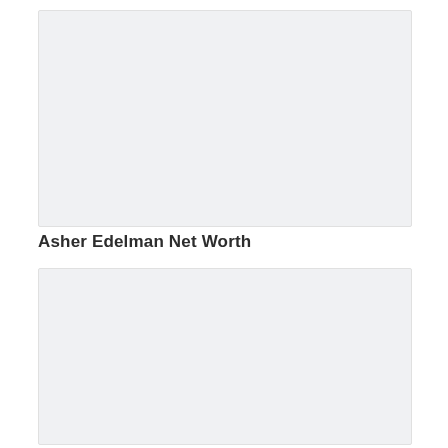[Figure (other): Placeholder image area at top of page, light gray background]
Asher Edelman Net Worth
[Figure (other): Placeholder image area at bottom of page, light gray background]